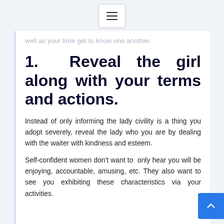[Figure (other): Hamburger menu button (three horizontal lines) centered at top of page]
well as your time get to know one another.
1.  Reveal the girl along with your terms and actions.
Instead of only informing the lady civility is a thing you adopt severely, reveal the lady who you are by dealing with the waiter with kindness and esteem.
Self-confident women don't want to only hear you will be enjoying, accountable, amusing, etc. They also want to see you exhibiting these characteristics via your activities.